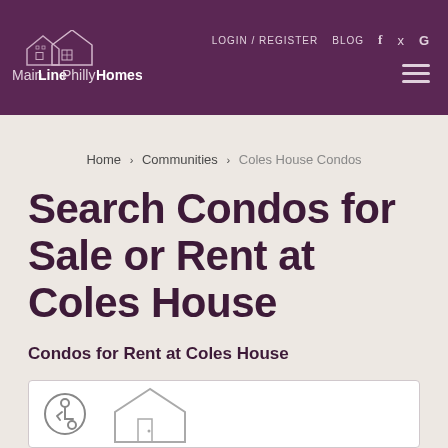[Figure (logo): MainLinePhillyHomes logo with house icon and navigation links (LOGIN / REGISTER, BLOG, social icons f, twitter, G) on dark purple header background]
Home > Communities > Coles House Condos
Search Condos for Sale or Rent at Coles House
Condos for Rent at Coles House
[Figure (illustration): White card with accessibility icon and house outline illustration at bottom of page]